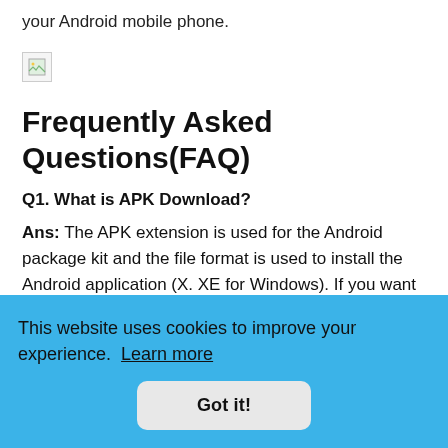your Android mobile phone.
[Figure (illustration): Broken image placeholder icon]
Frequently Asked Questions(FAQ)
Q1. What is APK Download?
Ans: The APK extension is used for the Android package kit and the file format is used to install the Android application (X. XE for Windows). If you want to install an APK, you need to manually download and run the file (a
.pk
hat
they pose a serious security risk. One can modify the
This website uses cookies to improve your experience. Learn more
Got it!